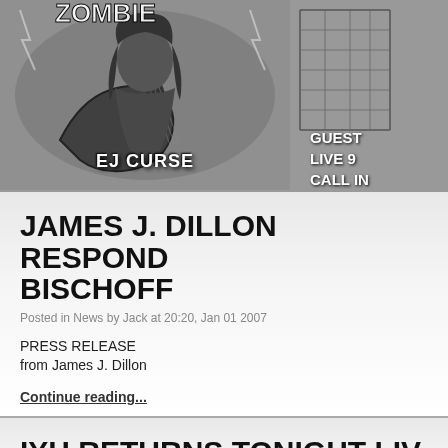[Figure (illustration): Black and white illustration of a guitarist with long hair holding an electric guitar, with text 'EJ CURSE' at the bottom, and partial 'ZOMBIE' text at the top. Right side shows a building graphic with text 'GUEST', 'LIVE 9', 'CALL IN']
JAMES J. DILLON RESPONDS BISCHOFF
Posted in News by Jack at 20:20, Jan 01 2007
PRESS RELEASE
from James J. Dillon
Continue reading...
IYH RETURNS TONIGHT LIVE EASTERN
Posted in News by Jack at 17:48, Dec 20 2006